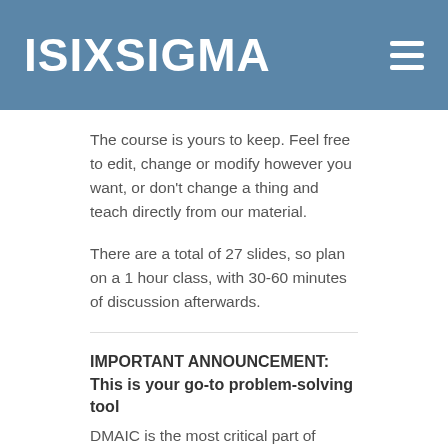ISIXSIGMA
The course is yours to keep. Feel free to edit, change or modify however you want, or don't change a thing and teach directly from our material.
There are a total of 27 slides, so plan on a 1 hour class, with 30-60 minutes of discussion afterwards.
IMPORTANT ANNOUNCEMENT: This is your go-to problem-solving tool
DMAIC is the most critical part of understanding Lean Six Sigma. People who know how to use DMAIC can remove obstacles, take friction out of improvement, and create positive change - in wharp speed. If you are looking to increase quality, reduce defects, and control costs, then